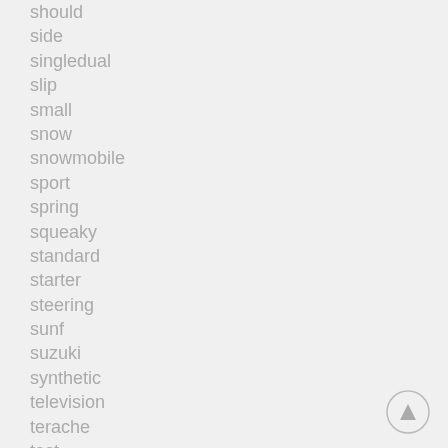should
side
singledual
slip
small
snow
snowmobile
sport
spring
squeaky
standard
starter
steering
sunf
suzuki
synthetic
television
terache
test
tips
tire